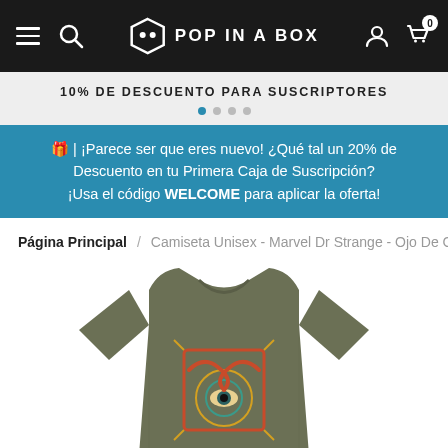Pop In A Box – Navigation bar with hamburger menu, search, logo, user icon, cart (0)
10% DE DESCUENTO PARA SUSCRIPTORES
🎁 | ¡Parece ser que eres nuevo! ¿Qué tal un 20% de Descuento en tu Primera Caja de Suscripción? ¡Usa el código WELCOME para aplicar la oferta!
Página Principal / Camiseta Unisex - Marvel Dr Strange - Ojo De C
[Figure (photo): Product photo of a green/olive unisex t-shirt with a Marvel Dr Strange Eye of Agamotto graphic print featuring serpents and a mystical eye motif in red, yellow, and teal colors]